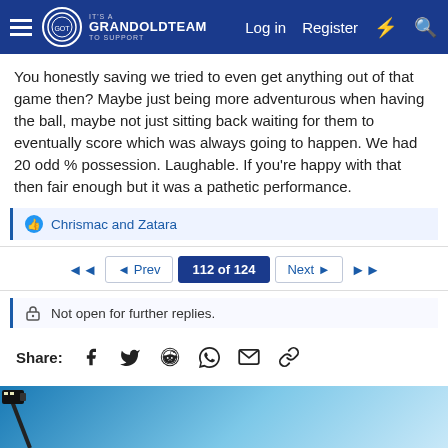GrandOldTeam — Log in | Register
You honestly saving we tried to even get anything out of that game then? Maybe just being more adventurous when having the ball, maybe not just sitting back waiting for them to eventually score which was always going to happen. We had 20 odd % possession. Laughable. If you're happy with that then fair enough but it was a pathetic performance.
Chrismac and Zatara
◄◄  ◄ Prev  112 of 124  Next ►  ►►
Not open for further replies.
Share:
[Figure (photo): Floodlight or camera on a boom arm against a blue sky background]